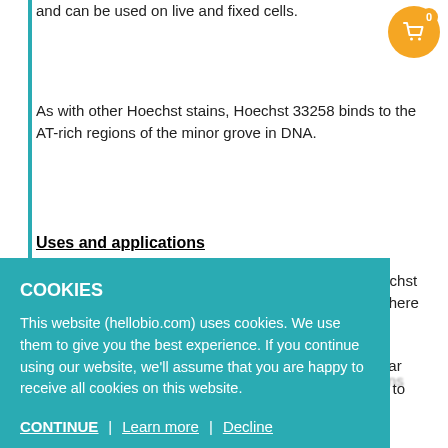and can be used on live and fixed cells.
As with other Hoechst stains, Hoechst 33258 binds to the AT-rich regions of the minor grove in DNA.
Uses and applications
Hoechst 33258 has similar applications of use to Hoechst 33342 and is suitable for a variety of applications as there is little fluorescent overlap with other used fluorescent proteins that help in the discrimination of...
...near ...d to
...s, it may be preferential to Hoecsht 33342 for
COOKIES
This website (hellobio.com) uses cookies. We use them to give you the best experience. If you continue using our website, we'll assume that you are happy to receive all cookies on this website.
CONTINUE | Learn more | Decline